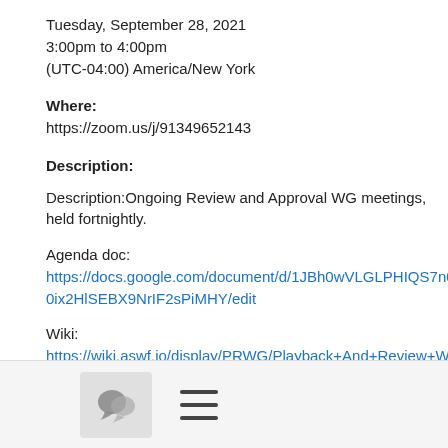Tuesday, September 28, 2021
3:00pm to 4:00pm
(UTC-04:00) America/New York
Where:
https://zoom.us/j/91349652143
Description:
Description:Ongoing Review and Approval WG meetings, held fortnightly.
Agenda doc:
https://docs.google.com/document/d/1JBh0wVLGLPHIQS7n05iq20ix2HlSEBX9NrIF2sPiMHY/edit
Wiki:
https://wiki.aswf.io/display/PRWG/Playback+And+Review+Working+Group
Join Zoom Meeting https://zoom.us/j/91349652143
Meeting ID: 913 4965 2143 One tap mobile
[Figure (screenshot): Toolbar with chat bubble icon button and hamburger menu icon]